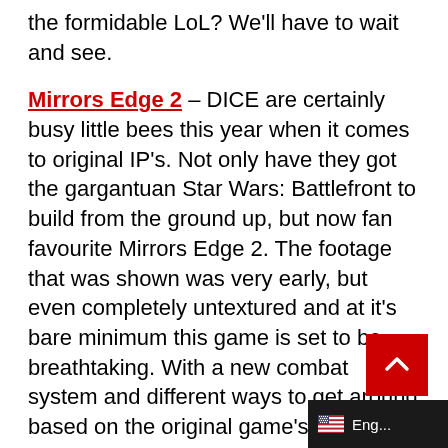the formidable LoL? We'll have to wait and see.
Mirrors Edge 2 – DICE are certainly busy little bees this year when it comes to original IP's. Not only have they got the gargantuan Star Wars: Battlefront to build from the ground up, but now fan favourite Mirrors Edge 2. The footage that was shown was very early, but even completely untextured and at it's bare minimum this game is set to be breathtaking. With a new combat system and different ways to get around based on the original game's skill sets, it looks like Mirrors Edge 2 will blow its predecessor out of the water.
Battlefield: Hardline – A fresh new take